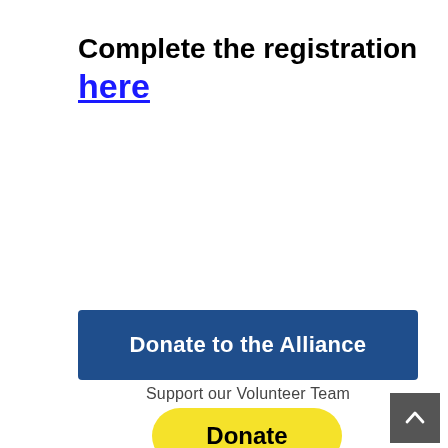Complete the registration here
Donate to the Alliance
Support our Volunteer Team
Donate